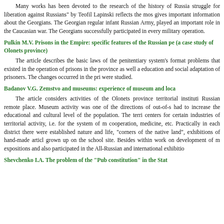Many works has been devoted to the research of the history of Russia struggle for liberation against Russians" by Teofil Lapinski reflects the most gives important information about the Georgians. The Georgian regular infant Russian Army, played an important role in the Caucasian war. The Georgians successfully participated in every military operation.
Pulkin M.V. Prisons in the Empire: specific features of the Russian pe (a case study of Olonets province)
The article describes the basic laws of the penitentiary system's format problems that existed in the operation of prisons in the province as well a education and social adaptation of prisoners. The changes occurred in the pri were studied.
Badanov V.G. Zemstvo and museums: experience of museum and loca
The article considers activities of the Olonets province territorial instituti Russian remote place. Museum activity was one of the directions of out-of-s had to increase the educational and cultural level of the population. The terri centers for certain industries of territorial activity, i.e. for the system of m cooperation, medicine, etc. Practically in each district there were established nature and life, "corners of the native land", exhibitions of hand-made articl grown up on the school site. Besides within work on development of m expositions and also participated in the All-Russian and international exhibitio
Shevchenko I.A. The problem of the "Pub constitution" in the Stat